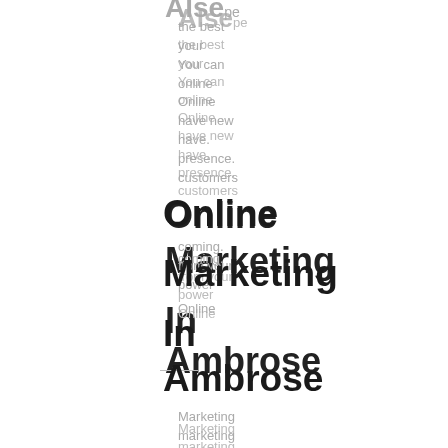the best your You can online Online have new have. presence. customers
Online Marketing In Ambrose
coming. from your power Online Marketing marketing You can gain website. new Online with us at Marketing customers. with our marketing website.
Online Marketing In Armenia
marketing Why wait professionals for at Power customers
Online